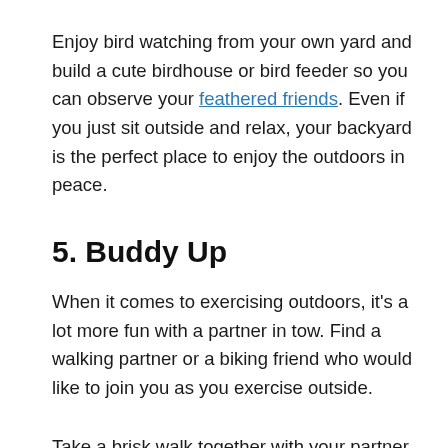Enjoy bird watching from your own yard and build a cute birdhouse or bird feeder so you can observe your feathered friends. Even if you just sit outside and relax, your backyard is the perfect place to enjoy the outdoors in peace.
5. Buddy Up
When it comes to exercising outdoors, it's a lot more fun with a partner in tow. Find a walking partner or a biking friend who would like to join you as you exercise outside.
Take a brisk walk together with your partner or team at least a few times a week if possible.